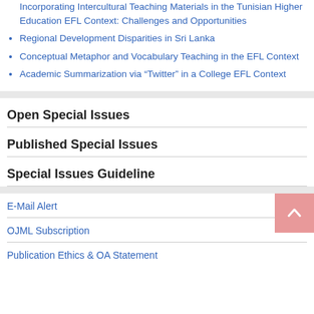Incorporating Intercultural Teaching Materials in the Tunisian Higher Education EFL Context: Challenges and Opportunities
Regional Development Disparities in Sri Lanka
Conceptual Metaphor and Vocabulary Teaching in the EFL Context
Academic Summarization via “Twitter” in a College EFL Context
Open Special Issues
Published Special Issues
Special Issues Guideline
E-Mail Alert
OJML Subscription
Publication Ethics & OA Statement